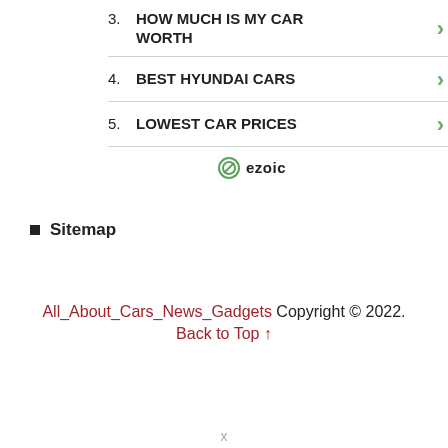3. HOW MUCH IS MY CAR WORTH
4. BEST HYUNDAI CARS
5. LOWEST CAR PRICES
[Figure (logo): Ezoic logo with circular icon and bold text, plus report this ad link]
Sitemap
All_About_Cars_News_Gadgets Copyright © 2022. Back to Top ↑